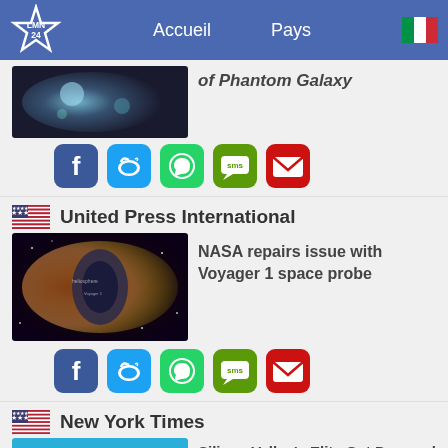LMN 24 | Accueil | Pays
[Figure (screenshot): Partial article image showing a galaxy/space photo with partial italic title 'of Phantom Galaxy']
[Figure (infographic): Social share icons row: Facebook, Twitter, WhatsApp, SMS, Email]
United Press International (US flag)
[Figure (photo): Voyager 1 space probe illustration showing heliosphere boundary]
NASA repairs issue with Voyager 1 space probe
[Figure (infographic): Social share icons row: Facebook, Twitter, WhatsApp, SMS, Email]
New York Times (US flag)
[Figure (photo): Silicon Valley sign illustration with cartoon rabbits and paper airplanes on blue background]
Silicon Valley's Elite Get Dragged Into Musk-Twitter Trial